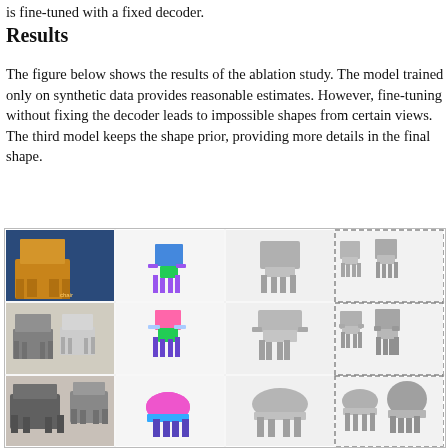is fine-tuned with a fixed decoder.
Results
The figure below shows the results of the ablation study. The model trained only on synthetic data provides reasonable estimates. However, fine-tuning without fixing the decoder leads to impossible shapes from certain views. The third model keeps the shape prior, providing more details in the final shape.
[Figure (illustration): Grid of chair images showing ablation study results. Three rows of chair examples, each row showing: input photo, colored synthetic prediction, two grayscale 3D shape estimates, and two more shape estimates in dashed boxes on the right.]